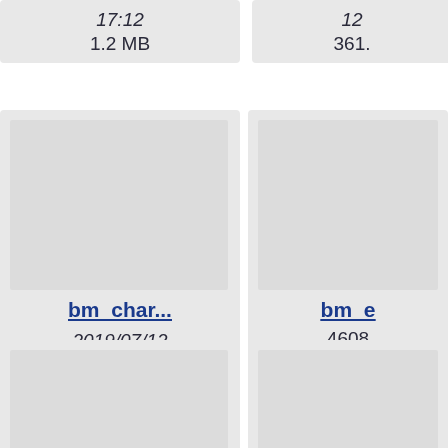17:12
1.2 MB
361.
[Figure (screenshot): File browser grid showing file cards: bm_char... (2019/07/12 08:25, 45.8 MB), bm_e... (4608, 2019/..., 08..., 3.3...), bmtemp... (2019/07/12 08:37, 30.2 KB partial), box... (2019/..., 16..., 1.5... partial)]